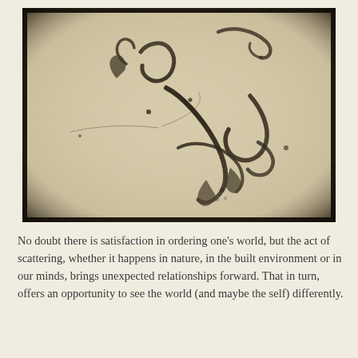[Figure (illustration): Black and white vintage-style photograph on textured bubble-wrap-like background. Shows scattered organic forms — curling dark calligraphic strokes, seed pods, leaves, and thin tendrils arranged in an abstract pattern, suggesting dispersal or scattering in nature. Heavy vignette border. Sepia/cream toned.]
No doubt there is satisfaction in ordering one's world, but the act of scattering, whether it happens in nature, in the built environment or in our minds, brings unexpected relationships forward. That in turn, offers an opportunity to see the world (and maybe the self) differently.